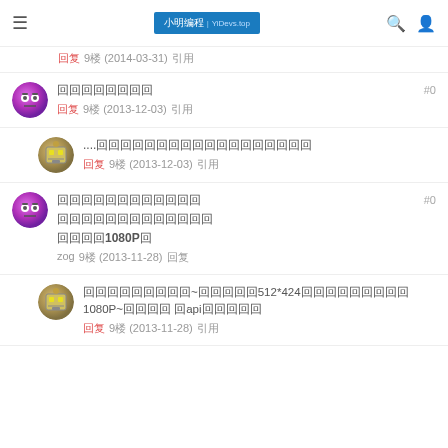≡  小明编程 | YiDevs.top  🔍  👤
回复  9楼 (2014-03-31)  引用
回回回回回回回回
回复  9楼 (2013-12-03)  引用
....回回回回回回回回回回回回回回回回回回
回复  9楼 (2013-12-03)  引用
回回回回回回回回回回回回
回回回回回回回回回回回回回
回回回回1080P回
zog  9楼 (2013-11-28)  回复
回回回回回回回回回~回回回回回512*424回回回回回回回回回1080P~回回回回 回api回回回回回
回复  9楼 (2013-11-28)  引用